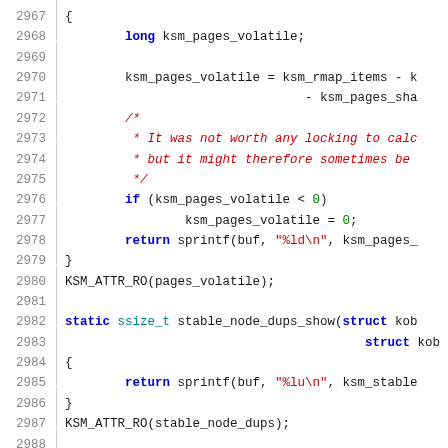Source code listing, lines 2967-2987, C kernel code for KSM memory management functions pages_volatile and stable_node_dups_show.